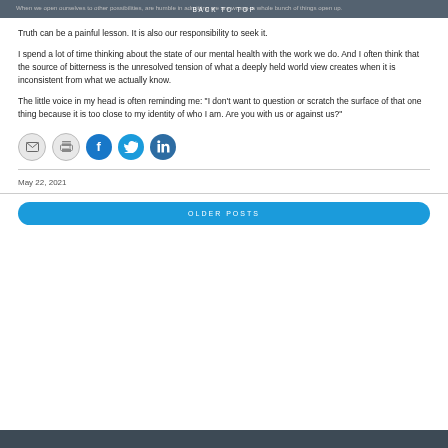When we open ourselves to other possibilities, are humble in admitting we are wrong–a whole bunch of things open up. BACK TO TOP
Truth can be a painful lesson. It is also our responsibility to seek it.
I spend a lot of time thinking about the state of our mental health with the work we do. And I often think that the source of bitterness is the unresolved tension of what a deeply held world view creates when it is inconsistent from what we actually know.
The little voice in my head is often reminding me: "I don't want to question or scratch the surface of that one thing because it is too close to my identity of who I am. Are you with us or against us?"
[Figure (infographic): Five social share icon circles: email (gray), print (gray), Facebook (blue), Twitter (light blue), LinkedIn (dark blue)]
May 22, 2021
OLDER POSTS